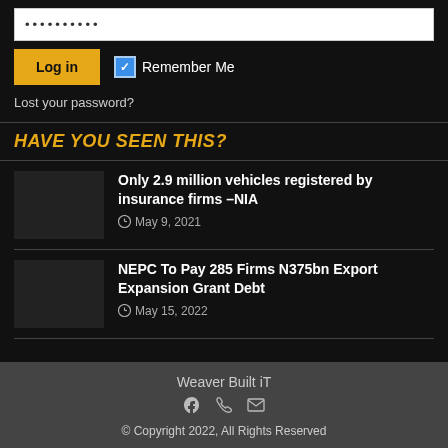[Figure (screenshot): Password input field with dots indicating hidden password]
[Figure (screenshot): Log in button (yellow/gold) and Remember Me checkbox (checked, blue)]
Lost your password?
HAVE YOU SEEN THIS?
Only 2.9 million vehicles registered by insurance firms –NIA
May 9, 2021
NEPC To Pay 285 Firms N375bn Export Expansion Grant Debt
May 15, 2022
Weaver Built iT
© Copyright 2022, All Rights Reserved